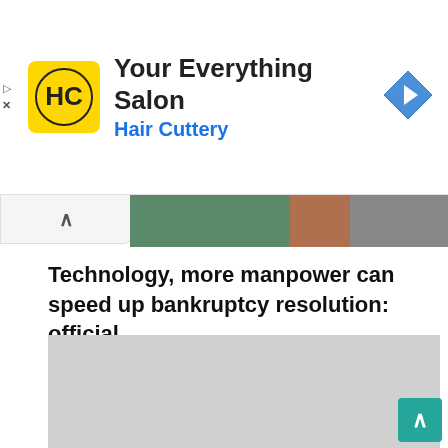[Figure (screenshot): Advertisement banner for Hair Cuttery - Your Everything Salon with logo and navigation icon]
[Figure (photo): Partial photo strip of people in a salon]
Technology, more manpower can speed up bankruptcy resolution: official
[Figure (photo): Grey placeholder image area]